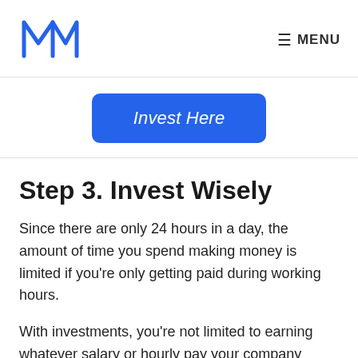M logo | MENU
[Figure (other): Blue stylized M logo]
≡ MENU
Invest Here
Step 3. Invest Wisely
Since there are only 24 hours in a day, the amount of time you spend making money is limited if you're only getting paid during working hours.
With investments, you're not limited to earning whatever salary or hourly pay your company thinks you're worth. Instead, your investments work for